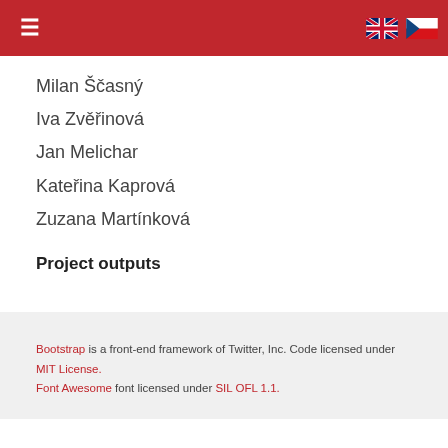Navigation bar with hamburger menu and UK/CZ flags
Milan Ščasný
Iva Zvěřinová
Jan Melichar
Kateřina Kaprová
Zuzana Martínková
Project outputs
Bootstrap is a front-end framework of Twitter, Inc. Code licensed under MIT License. Font Awesome font licensed under SIL OFL 1.1.